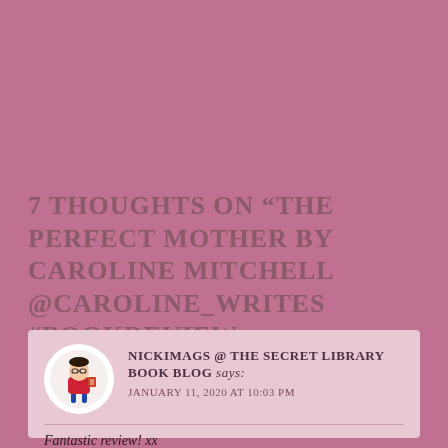7 THOUGHTS ON “THE PERFECT MOTHER BY CAROLINE MITCHELL @CAROLINE_WRITES #BOOKREVIEW #NETGALLEY”
NICKIMAGS @ THE SECRET LIBRARY BOOK BLOG says: JANUARY 11, 2020 AT 10:03 PM
Fantastic review! xx